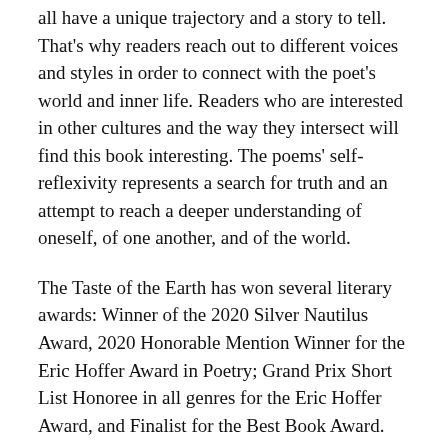all have a unique trajectory and a story to tell. That's why readers reach out to different voices and styles in order to connect with the poet's world and inner life. Readers who are interested in other cultures and the way they intersect will find this book interesting. The poems' self-reflexivity represents a search for truth and an attempt to reach a deeper understanding of oneself, of one another, and of the world.
The Taste of the Earth has won several literary awards: Winner of the 2020 Silver Nautilus Award, 2020 Honorable Mention Winner for the Eric Hoffer Award in Poetry; Grand Prix Short List Honoree in all genres for the Eric Hoffer Award, and Finalist for the Best Book Award.
One of the aspects that characterizes The Taste of the Earth would be its focus on experimentation. The